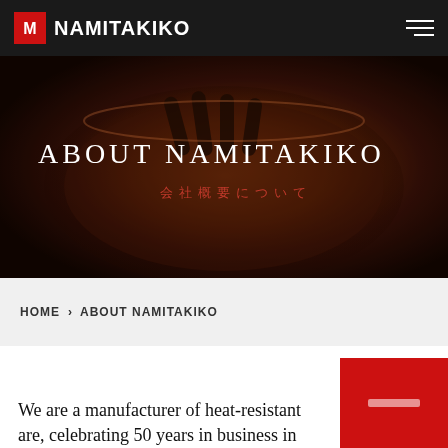NAMITAKIKO
[Figure (photo): Hero banner with dark background showing hands with heat-resistant material in a bowl, overlaid with the text ABOUT NAMITAKIKO]
ABOUT NAMITAKIKO
会社概要について
HOME > ABOUT NAMITAKIKO
We are a manufacturer of heat-resistant are, celebrating 50 years in business in